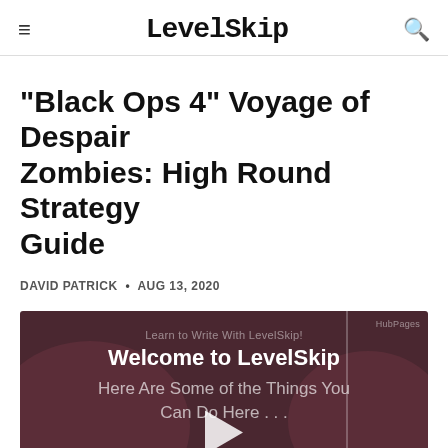LevelSkip
"Black Ops 4" Voyage of Despair Zombies: High Round Strategy Guide
DAVID PATRICK • AUG 13, 2020
[Figure (screenshot): Video player thumbnail showing 'Welcome to LevelSkip' with subtitle 'Here Are Some of the Things You Can Do Here...' on a dark red/maroon background with a play button and audio visualizer bars at the bottom.]